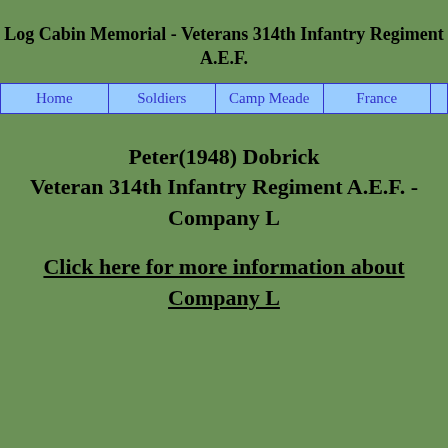Log Cabin Memorial - Veterans 314th Infantry Regiment A.E.F.
| Home | Soldiers | Camp Meade | France |
| --- | --- | --- | --- |
Peter(1948) Dobrick
Veteran 314th Infantry Regiment A.E.F. - Company L
Click here for more information about Company L